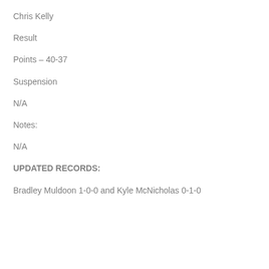Chris Kelly
Result
Points – 40-37
Suspension
N/A
Notes:
N/A
UPDATED RECORDS:
Bradley Muldoon 1-0-0 and Kyle McNicholas 0-1-0